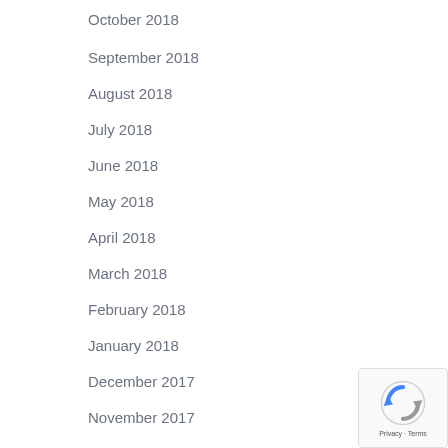October 2018
September 2018
August 2018
July 2018
June 2018
May 2018
April 2018
March 2018
February 2018
January 2018
December 2017
November 2017
October 2017
Categories